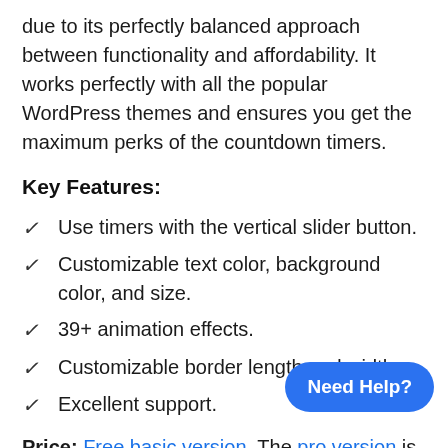due to its perfectly balanced approach between functionality and affordability. It works perfectly with all the popular WordPress themes and ensures you get the maximum perks of the countdown timers.
Key Features:
Use timers with the vertical slider button.
Customizable text color, background color, and size.
39+ animation effects.
Customizable border length and width.
Excellent support.
Price: Free basic version. The pro version is available for $13.